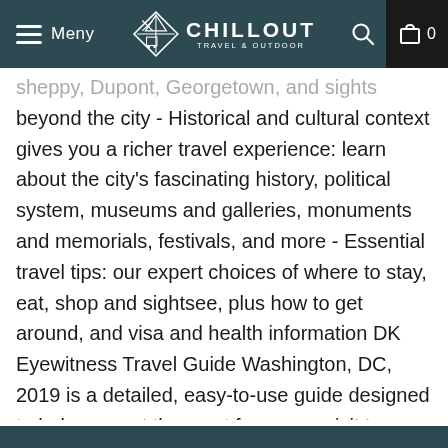Meny | CHILLOUT TRAVEL & OUTDOOR
Sheppy, Dupont, Georgetown, and sights beyond the city - Historical and cultural context gives you a richer travel experience: learn about the city's fascinating history, political system, museums and galleries, monuments and memorials, festivals, and more - Essential travel tips: our expert choices of where to stay, eat, shop and sightsee, plus how to get around, and visa and health information DK Eyewitness Travel Guide Washington, DC, 2019 is a detailed, easy-to-use guide designed to help you get the most from your visit to Washington, DC. "No other guide whets your appetite quite like this one" - The Independent Planning a shorter break? Try our DK Eyewitness Top 10 Washington, DC